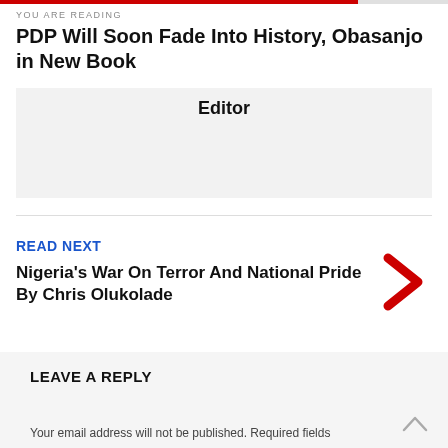YOU ARE READING
PDP Will Soon Fade Into History, Obasanjo in New Book
Editor
READ NEXT
Nigeria's War On Terror And National Pride By Chris Olukolade
LEAVE A REPLY
Your email address will not be published. Required fields